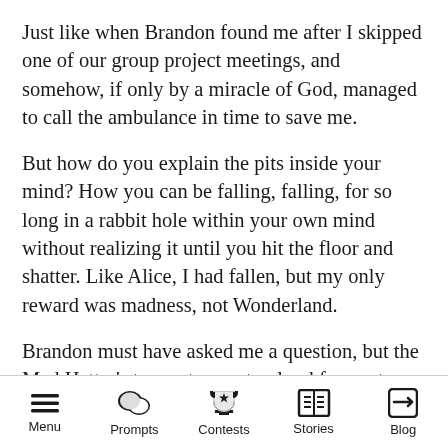Just like when Brandon found me after I skipped one of our group project meetings, and somehow, if only by a miracle of God, managed to call the ambulance in time to save me.
But how do you explain the pits inside your mind? How you can be falling, falling, for so long in a rabbit hole within your own mind without realizing it until you hit the floor and shatter. Like Alice, I had fallen, but my only reward was madness, not Wonderland.
Brandon must have asked me a question, but the Mad Hatter’s tea party was too loud for me to hear.
Menu  Prompts  Contests  Stories  Blog